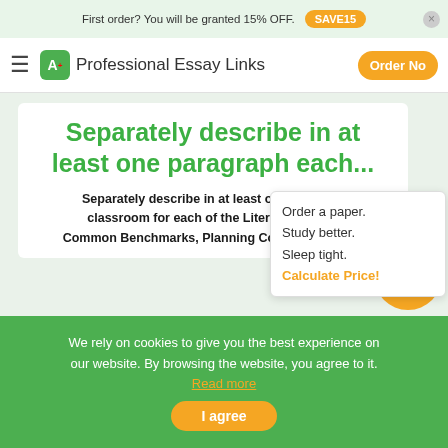First order? You will be granted 15% OFF. SAVE15
Professional Essay Links  Order No
Separately describe in at least one paragraph each...
Separately describe in at least one paragraph each... classroom for each of the Literacy Stages. Common Benchmarks, Planning Considerations,...
Order a paper. Study better. Sleep tight. Calculate Price!
We rely on cookies to give you the best experience on our website. By browsing the website, you agree to it. Read more
I agree